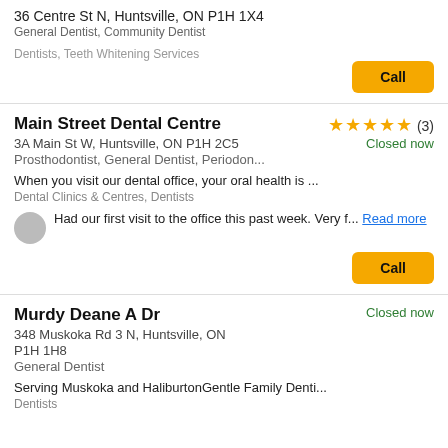36 Centre St N, Huntsville, ON P1H 1X4
General Dentist, Community Dentist
Dentists, Teeth Whitening Services
Call
Main Street Dental Centre
★★★★★ (3)
Closed now
3A Main St W, Huntsville, ON P1H 2C5
Prosthodontist, General Dentist, Periodon...
When you visit our dental office, your oral health is ...
Dental Clinics & Centres, Dentists
Had our first visit to the office this past week. Very f...
Read more
Call
Murdy Deane A Dr
Closed now
348 Muskoka Rd 3 N, Huntsville, ON
P1H 1H8
General Dentist
Serving Muskoka and HaliburtonGentle Family Denti...
Dentists